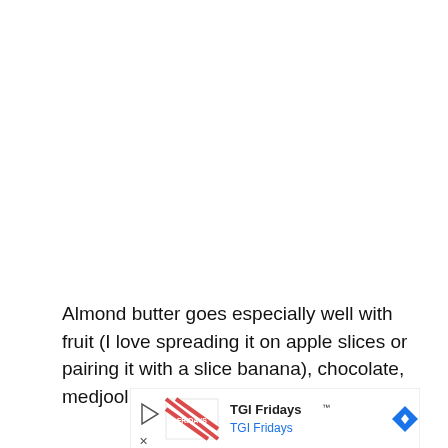Almond butter goes especially well with fruit (I love spreading it on apple slices or pairing it with a slice banana), chocolate, medjool dates (it tastes like
[Figure (other): TGI Fridays advertisement banner with play button icon, TGI Fridays logo/image, text 'TGI Fridays™' and 'TGI Fridays', a blue diamond-shaped navigation/direction icon on the right, and close (X) button on the left.]